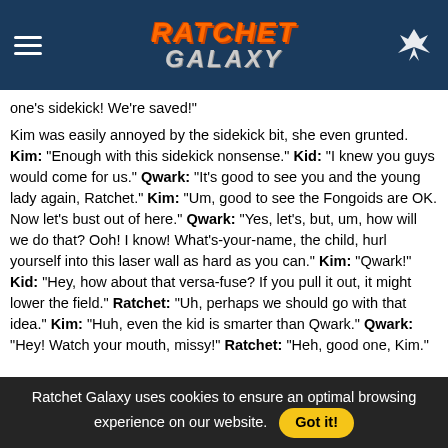Ratchet Galaxy
one's sidekick! We're saved!"
Kim was easily annoyed by the sidekick bit, she even grunted. Kim: "Enough with this sidekick nonsense." Kid: "I knew you guys would come for us." Qwark: "It's good to see you and the young lady again, Ratchet." Kim: "Um, good to see the Fongoids are OK. Now let's bust out of here." Qwark: "Yes, let's, but, um, how will we do that? Ooh! I know! What's-your-name, the child, hurl yourself into this laser wall as hard as you can." Kim: "Qwark!" Kid: "Hey, how about that versa-fuse? If you pull it out, it might lower the field." Ratchet: "Uh, perhaps we should go with that idea." Kim: "Huh, even the kid is smarter than Qwark." Qwark: "Hey! Watch your mouth, missy!" Ratchet: "Heh, good one, Kim."
Ratchet and Kim got to pulling out the versa-fuse which shut down the laser fields. Qwark: "Thanks for letting us out of there, guys. Now, follow me, everyone, to freedom!" Ratchet:
Ratchet Galaxy uses cookies to ensure an optimal browsing experience on our website. Got it!